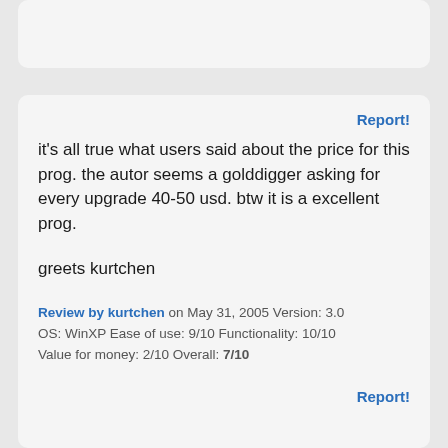Report!
it's all true what users said about the price for this prog. the autor seems a golddigger asking for every upgrade 40-50 usd. btw it is a excellent prog.

greets kurtchen
Review by kurtchen on May 31, 2005 Version: 3.0 OS: WinXP Ease of use: 9/10 Functionality: 10/10 Value for money: 2/10 Overall: 7/10
Report!